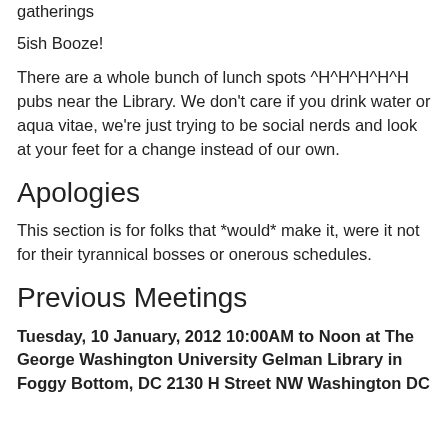gatherings
5ish Booze!
There are a whole bunch of lunch spots ^H^H^H^H^H pubs near the Library. We don't care if you drink water or aqua vitae, we're just trying to be social nerds and look at your feet for a change instead of our own.
Apologies
This section is for folks that *would* make it, were it not for their tyrannical bosses or onerous schedules.
Previous Meetings
Tuesday, 10 January, 2012 10:00AM to Noon at The George Washington University Gelman Library in Foggy Bottom, DC 2130 H Street NW Washington DC